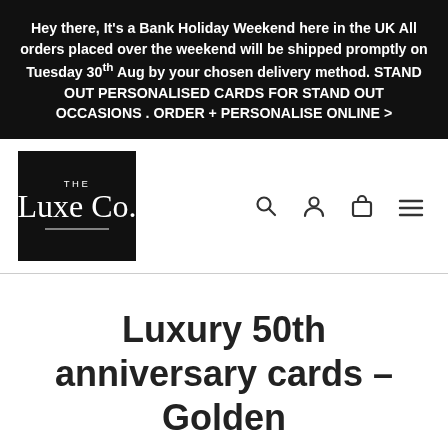Hey there, It's a Bank Holiday Weekend here in the UK All orders placed over the weekend will be shipped promptly on Tuesday 30th Aug by your chosen delivery method. STAND OUT PERSONALISED CARDS FOR STAND OUT OCCASIONS . ORDER + PERSONALISE ONLINE >
[Figure (logo): The Luxe Co. logo in white on black square background with cursive script]
Luxury 50th anniversary cards - Golden